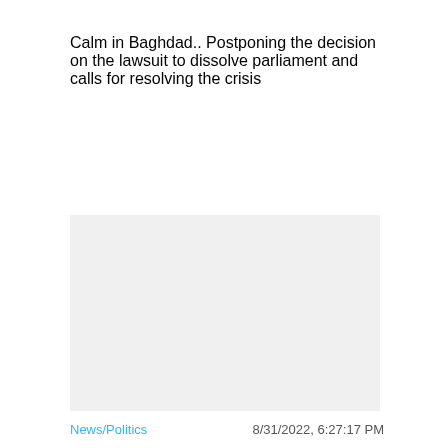Calm in Baghdad.. Postponing the decision on the lawsuit to dissolve parliament and calls for resolving the crisis
[Figure (other): Light gray image placeholder rectangle]
News/Politics   8/31/2022, 6:27:17 PM
I protested Google's support for Israel .. the marketing officer resigns and accuses the company of silencing voices defending Palestinians